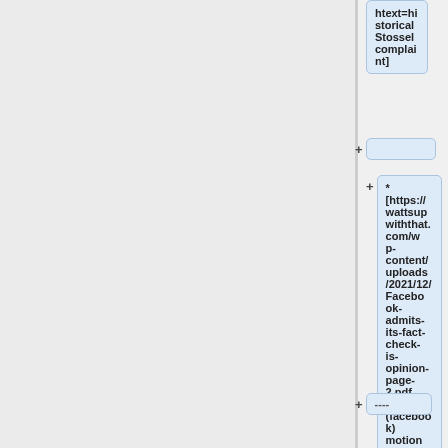htext=historical Stossel complaint]
+
* [https://wattsupwiththat.com/wp-content/uploads/2021/12/Facebook-admits-its-fact-check-is-opinion-page-2.pdf MEta (facebook) motion to dismiss]
+
+ ----